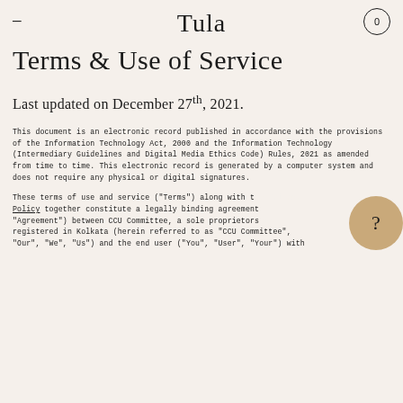Tula
Terms & Use of Service
Last updated on December 27th, 2021.
This document is an electronic record published in accordance with the provisions of the Information Technology Act, 2000 and the Information Technology (Intermediary Guidelines and Digital Media Ethics Code) Rules, 2021 as amended from time to time. This electronic record is generated by a computer system and does not require any physical or digital signatures.
These terms of use and service ("Terms") along with the Privacy Policy together constitute a legally binding agreement ("Agreement") between CCU Committee, a sole proprietorship registered in Kolkata (herein referred to as "CCU Committee", "Our", "We", "Us") and the end user ("You", "User", "Your") with